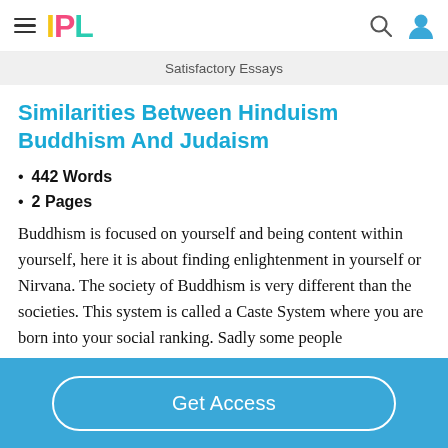IPL
Satisfactory Essays
Similarities Between Hinduism Buddhism And Judaism
442 Words
2 Pages
Buddhism is focused on yourself and being content within yourself, here it is about finding enlightenment in yourself or Nirvana. The society of Buddhism is very different than the societies. This system is called a Caste System where you are born into your social ranking. Sadly some people
Get Access